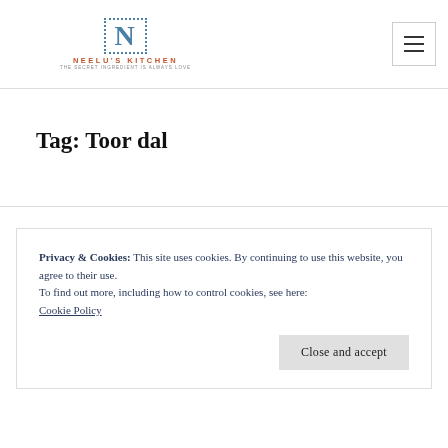NEELU'S KITCHEN
Tag: Toor dal
Privacy & Cookies: This site uses cookies. By continuing to use this website, you agree to their use.
To find out more, including how to control cookies, see here: Cookie Policy
Close and accept